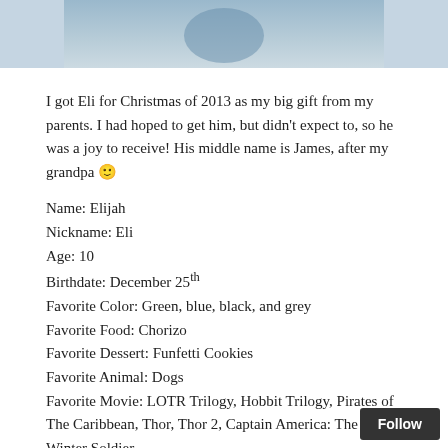[Figure (photo): Cropped bottom portion of a photo showing a child in blue clothing, partially visible at top of page]
I got Eli for Christmas of 2013 as my big gift from my parents. I had hoped to get him, but didn't expect to, so he was a joy to receive! His middle name is James, after my grandpa 🙂
Name: Elijah
Nickname: Eli
Age: 10
Birthdate: December 25th
Favorite Color: Green, blue, black, and grey
Favorite Food: Chorizo
Favorite Dessert: Funfetti Cookies
Favorite Animal: Dogs
Favorite Movie: LOTR Trilogy, Hobbit Trilogy, Pirates of The Caribbean, Thor, Thor 2, Captain America: The Winter Soldier
Favorite Song: He isn't huge on songs, he just likes cool superhero music 😉
Personality: Eli is super fun and crazy! He's a really nice guy and loves to make people laugh!
Hobbies: Pretending he's a superhero, playing sports, and play